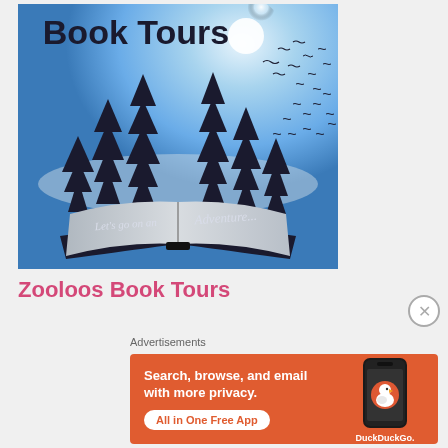[Figure (illustration): Book Tours illustration: an open book with pine trees silhouetted against a blue sky with birds flying, text reads 'Book Tours' at top and 'Let's go on an Adventure...' on the book pages]
Zooloos Book Tours
Advertisements
[Figure (screenshot): DuckDuckGo advertisement on orange background: 'Search, browse, and email with more privacy. All in One Free App' with DuckDuckGo logo and phone graphic]